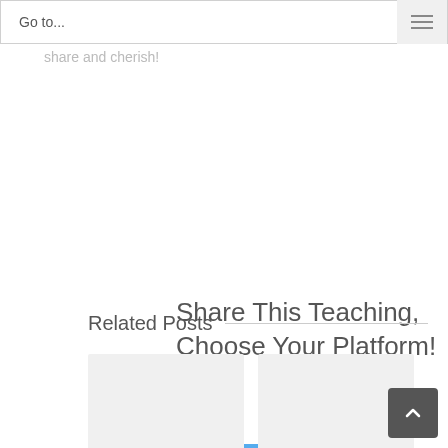Go to...
Share This Teaching, Choose Your Platform!
[Figure (other): Social share buttons: Facebook (blue square with f icon) and Twitter (light blue square with bird icon)]
Related Posts
[Figure (other): Two related post card thumbnails side by side with light gray background]